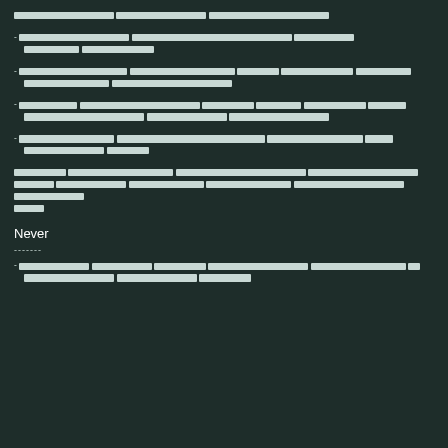[redacted text block - top line]
- [redacted list item 1]
- [redacted list item 2]
- [redacted list item 3]
- [redacted list item 4]
[redacted paragraph]
Never
-------
- [redacted list item]